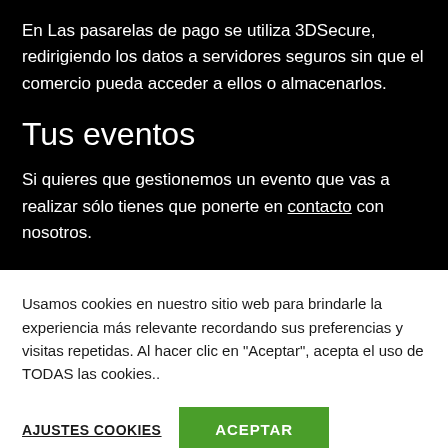En Las pasarelas de pago se utiliza 3DSecure, redirigiendo los datos a servidores seguros sin que el comercio pueda acceder a ellos o almacenarlos.
Tus eventos
Si quieres que gestionemos un evento que vas a realizar sólo tienes que ponerte en contacto con nosotros.
Usamos cookies en nuestro sitio web para brindarle la experiencia más relevante recordando sus preferencias y visitas repetidas. Al hacer clic en "Aceptar", acepta el uso de TODAS las cookies..
AJUSTES COOKIES | ACEPTAR